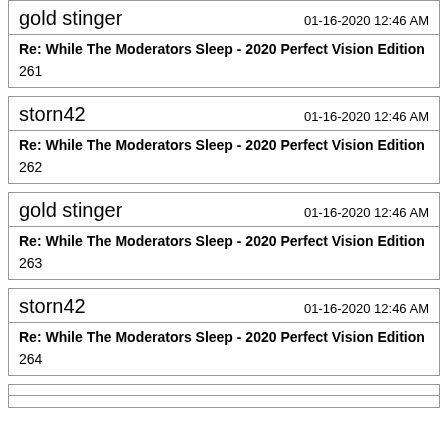gold stinger — 01-16-2020 12:46 AM
Re: While The Moderators Sleep - 2020 Perfect Vision Edition
261
storn42 — 01-16-2020 12:46 AM
Re: While The Moderators Sleep - 2020 Perfect Vision Edition
262
gold stinger — 01-16-2020 12:46 AM
Re: While The Moderators Sleep - 2020 Perfect Vision Edition
263
storn42 — 01-16-2020 12:46 AM
Re: While The Moderators Sleep - 2020 Perfect Vision Edition
264